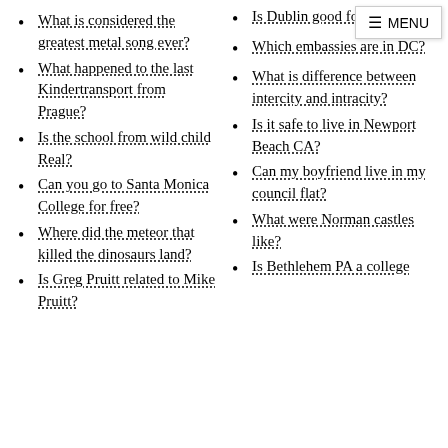What is considered the greatest metal song ever?
What happened to the last Kindertransport from Prague?
Is the school from wild child Real?
Can you go to Santa Monica College for free?
Where did the meteor that killed the dinosaurs land?
Is Greg Pruitt related to Mike Pruitt?
Is Dublin good for tech jobs?
Which embassies are in DC?
What is difference between intercity and intracity?
Is it safe to live in Newport Beach CA?
Can my boyfriend live in my council flat?
What were Norman castles like?
Is Bethlehem PA a college?